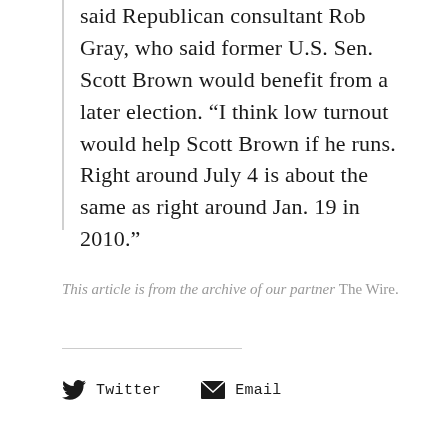said Republican consultant Rob Gray, who said former U.S. Sen. Scott Brown would benefit from a later election. “I think low turnout would help Scott Brown if he runs. Right around July 4 is about the same as right around Jan. 19 in 2010.”
This article is from the archive of our partner The Wire.
Twitter   Email